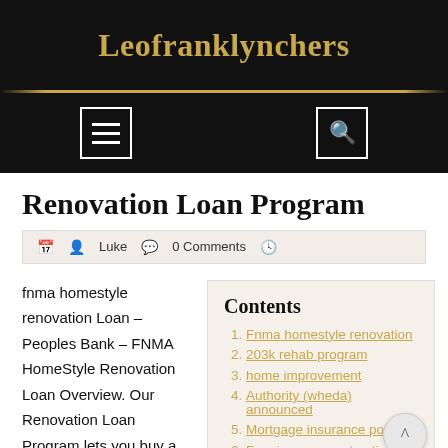Leofranklynchers
Renovation Loan Program
Luke  0 Comments
fnma homestyle renovation Loan – Peoples Bank – FNMA HomeStyle Renovation Loan Overview. Our Renovation Loan Program lets you buy a
Contents
Fnma homestyle renovation
203k rehab program
home improvement
Authority (wheda) announced
Mortgage insurance policies
Fannie mae construction